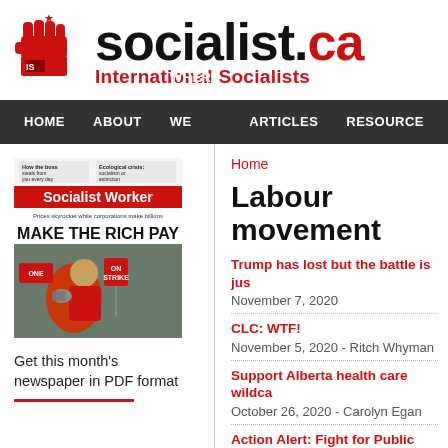[Figure (logo): socialist.ca International Socialists logo with red raised fist and IS label]
HOME  ABOUT  WHERE WE STAND  ARTICLES  RESOURCE
[Figure (photo): Socialist Worker newspaper cover: Make the Rich Pay, showing a protest with a woman holding a megaphone on strike]
Get this month's newspaper in PDF format
Home
Labour movement
Trump has lost but the battle is jus
November 7, 2020
CLC: WTF!
November 5, 2020 - Ritch Whyman
Support Alberta health care wildca
October 26, 2020 - Carolyn Egan
Action Alert: Fight for Public Healt
October 25, 2020 - Carolyn Egan